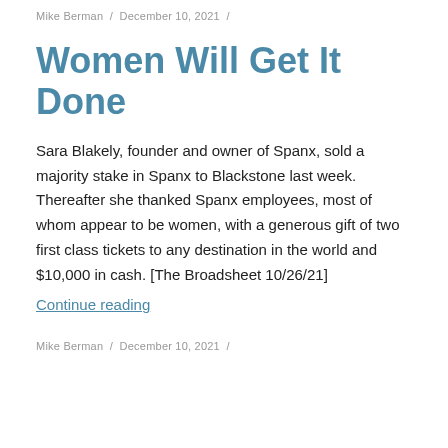Mike Berman / December 10, 2021 /
Women Will Get It Done
Sara Blakely, founder and owner of Spanx, sold a majority stake in Spanx to Blackstone last week. Thereafter she thanked Spanx employees, most of whom appear to be women, with a generous gift of two first class tickets to any destination in the world and $10,000 in cash. [The Broadsheet 10/26/21]
Continue reading
Mike Berman / December 10, 2021 /